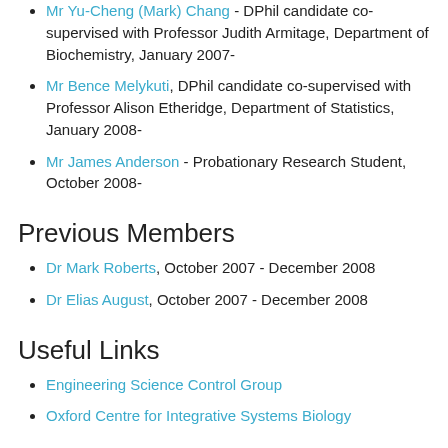Mr Yu-Cheng (Mark) Chang - DPhil candidate co-supervised with Professor Judith Armitage, Department of Biochemistry, January 2007-
Mr Bence Melykuti, DPhil candidate co-supervised with Professor Alison Etheridge, Department of Statistics, January 2008-
Mr James Anderson - Probationary Research Student, October 2008-
Previous Members
Dr Mark Roberts, October 2007 - December 2008
Dr Elias August, October 2007 - December 2008
Useful Links
Engineering Science Control Group
Oxford Centre for Integrative Systems Biology